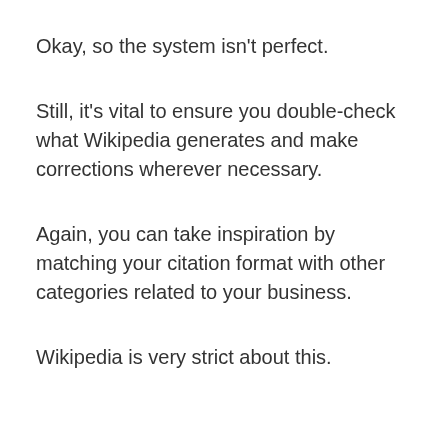Okay, so the system isn't perfect.
Still, it's vital to ensure you double-check what Wikipedia generates and make corrections wherever necessary.
Again, you can take inspiration by matching your citation format with other categories related to your business.
Wikipedia is very strict about this.